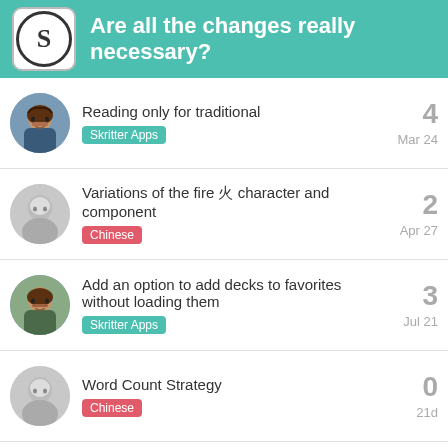Are all the changes really necessary?
Reading only for traditional | Skritter Apps | 4 replies | Mar 24
Variations of the fire 火 character and component | Chinese | 2 replies | Apr 27
Add an option to add decks to favorites without loading them | Skritter Apps | 3 replies | Jul 21
Word Count Strategy | Chinese | 0 replies | 21d
Want to read more? Browse all categories or view latest topics.